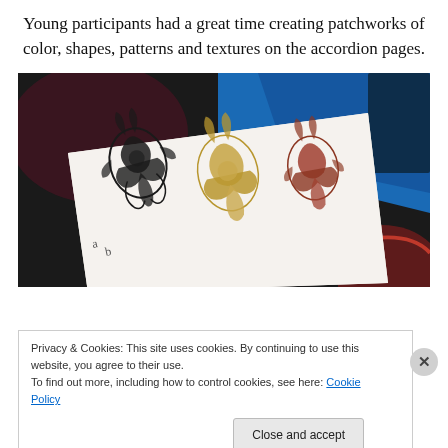Young participants had a great time creating patchworks of color, shapes, patterns and textures on the accordion pages.
[Figure (photo): Photo of accordion-folded paper pages with decorative floral/botanical stencil patterns in black, gold, and red-orange, lying on a dark surface with a blue book visible in the background.]
Privacy & Cookies: This site uses cookies. By continuing to use this website, you agree to their use.
To find out more, including how to control cookies, see here: Cookie Policy
Close and accept